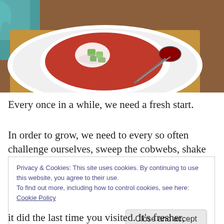[Figure (photo): Top-down food photo of a white bowl containing red soup (gazpacho or borscht) topped with white cream and green avocado chunks, placed on a white oval plate with a metal spoon, on a wooden cutting board with a teal cloth in background.]
Every once in a while, we need a fresh start.
In order to grow, we need to every so often challenge ourselves, sweep the cobwebs, shake out the rug and
Privacy & Cookies: This site uses cookies. By continuing to use this website, you agree to their use.
To find out more, including how to control cookies, see here: Cookie Policy
it did the last time you visited. It's fresher, brighter and a